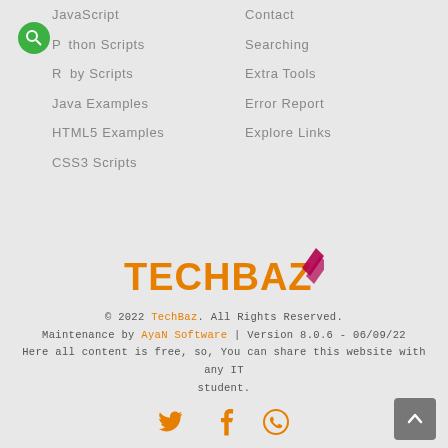JavaScript
Python Scripts
Ruby Scripts
Java Examples
HTML5 Examples
CSS3 Scripts
Contact
Searching
Extra Tools
Error Report
Explore Links
[Figure (logo): TechBaz logo with orange TECHBAZ text and magenta lightning bolt accent]
© 2022 TechBaz. All Rights Reserved.
Maintenance by AyaN Software | Version 8.0.6 - 06/09/22
Here all content is free, so, You can share this website with any IT student.
[Figure (illustration): Social media icons: Twitter bird, Facebook f, WhatsApp phone in orange color]